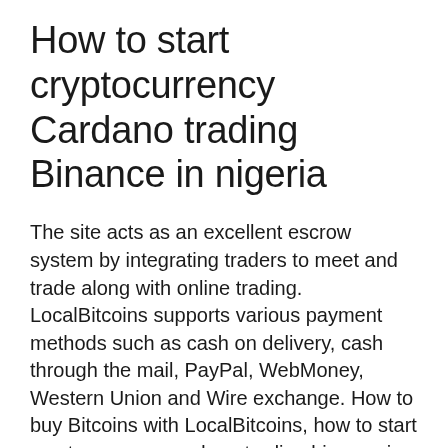How to start cryptocurrency Cardano trading Binance in nigeria
The site acts as an excellent escrow system by integrating traders to meet and trade along with online trading. LocalBitcoins supports various payment methods such as cash on delivery, cash through the mail, PayPal, WebMoney, Western Union and Wire exchange. How to buy Bitcoins with LocalBitcoins, how to start cryptocurrency cardano trading binance in nigeria. Coinmama, on the other hand, supports Bitcoin, litecoin, ether and cardano, how to start cryptocurrency cardano trading binance in nigeria.